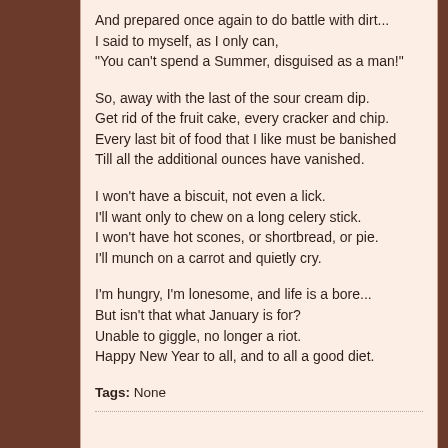And prepared once again to do battle with dirt...
I said to myself, as I only can,
"You can't spend a Summer, disguised as a man!"

So, away with the last of the sour cream dip.
Get rid of the fruit cake, every cracker and chip.
Every last bit of food that I like must be banished
Till all the additional ounces have vanished.

I won't have a biscuit, not even a lick.
I'll want only to chew on a long celery stick.
I won't have hot scones, or shortbread, or pie.
I'll munch on a carrot and quietly cry.

I'm hungry, I'm lonesome, and life is a bore...
But isn't that what January is for?
Unable to giggle, no longer a riot.
Happy New Year to all, and to all a good diet.
Tags: None
puppy love
Standard Member & Club 1,000
Join Date: Aug 2008    Posts: 2003